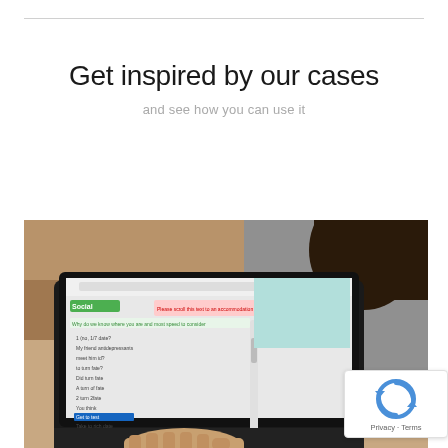Get inspired by our cases
and see how you can use it
[Figure (photo): Person sitting at a laptop computer with a chat or web application visible on screen, viewed from behind/side angle. The laptop shows a green-themed website with a chat interface listing multiple questions or menu items.]